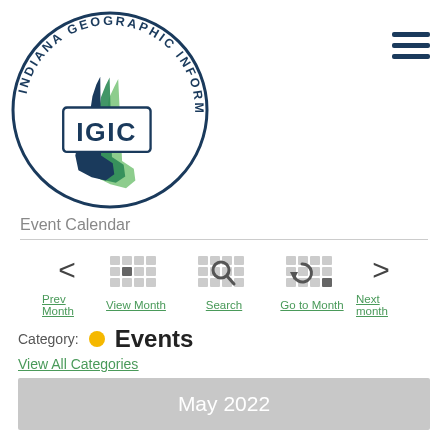[Figure (logo): Indiana Geographic Information Council (IGIC) circular logo with Indiana state map and IGIC acronym]
[Figure (illustration): Hamburger menu icon (three horizontal lines) in dark navy blue]
Event Calendar
[Figure (other): Calendar navigation bar with Prev Month, View Month, Search, Go to Month, Next month controls]
Category: Events
View All Categories
May 2022